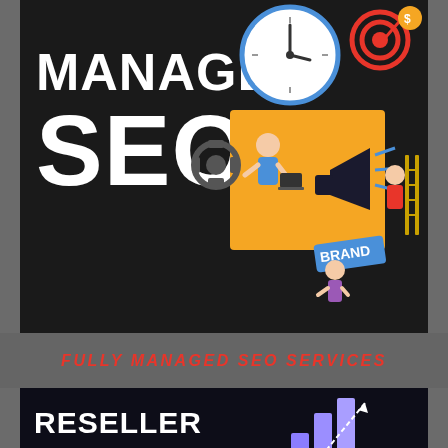[Figure (illustration): Dark background banner with large white bold text reading MANAGED SEO on the left, and an orange/blue illustrated scene on the right showing people working with clocks, megaphones, gears, and a BRAND sign, representing SEO marketing concepts.]
FULLY MANAGED SEO SERVICES
[Figure (illustration): Dark navy/black background banner with large white bold text reading RESELLER SEO SERVICES with a THATWARE logo on the left, and an isometric 3D illustration on the right showing bar charts going up, a monitor, target/bullseye with arrows, and a green WhatsApp button, plus a reCAPTCHA Privacy-Terms badge.]